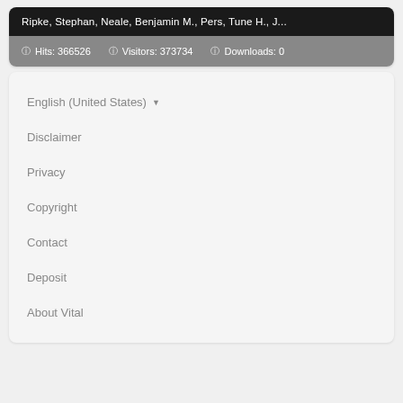Ripke, Stephan, Neale, Benjamin M., Pers, Tune H., J...
Hits: 366526   Visitors: 373734   Downloads: 0
English (United States)
Disclaimer
Privacy
Copyright
Contact
Deposit
About Vital